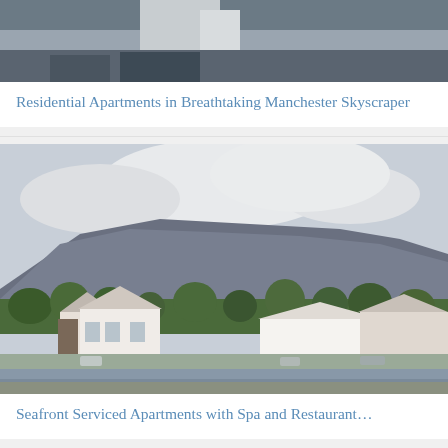[Figure (photo): Aerial or elevated view of a Manchester skyscraper building, partially visible at top of page]
Residential Apartments in Breathtaking Manchester Skyscraper
[Figure (photo): Scenic waterfront photo showing a coastal town with houses and trees in foreground, a large mountain/hill in the background under a cloudy sky]
Seafront Serviced Apartments with Spa and Restaurant…